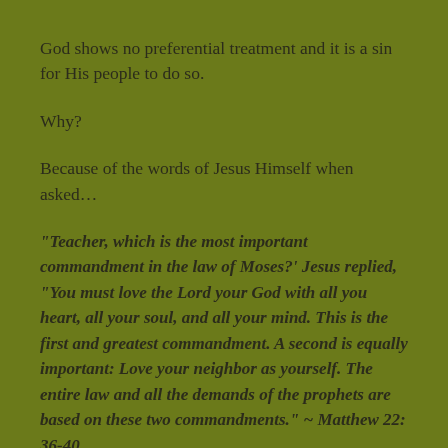God shows no preferential treatment and it is a sin for His people to do so.
Why?
Because of the words of Jesus Himself when asked…
“Teacher, which is the most important commandment in the law of Moses?’ Jesus replied, “You must love the Lord your God with all you heart, all your soul, and all your mind. This is the first and greatest commandment. A second is equally important: Love your neighbor as yourself. The entire law and all the demands of the prophets are based on these two commandments.” ~ Matthew 22: 36-40